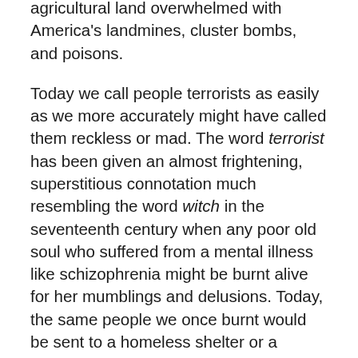agricultural land overwhelmed with America's landmines, cluster bombs, and poisons.
Today we call people terrorists as easily as we more accurately might have called them reckless or mad. The word terrorist has been given an almost frightening, superstitious connotation much resembling the word witch in the seventeenth century when any poor old soul who suffered from a mental illness like schizophrenia might be burnt alive for her mumblings and delusions. Today, the same people we once burnt would be sent to a homeless shelter or a psychiatric hospital. Another aspect of the word terrorist is related to what Stalin used to say when he expected his officials to launch a new purge to keep the country terrorized into submission. The Vozhd would say something about “wreckers” or “wreckers of the revolution” and his minions would busy themselves demonstrating